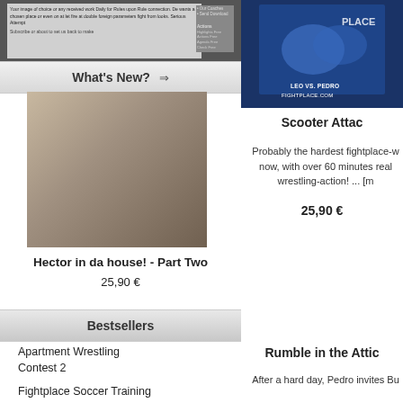[Figure (screenshot): Top banner area with text content and sidebar links on dark background]
What's New? ⇒
[Figure (photo): Wrestling match photo - two shirtless men grappling on the floor]
Hector in da house! - Part Two
25,90 €
Bestsellers
Apartment Wrestling Contest 2
Fightplace Soccer Training
Apartment Wrestling Contest 1 + 2 + 3 - Bundle
Rumble in the Attic - Part 1
[Figure (photo): Wrestling match photo with LEO VS. PEDRO FIGHTPLACE.COM text overlay on blue background]
Scooter Attac
Probably the hardest fightplace-w now, with over 60 minutes real wrestling-action! ... [m
25,90 €
Rumble in the Attic
After a hard day, Pedro invites Bu